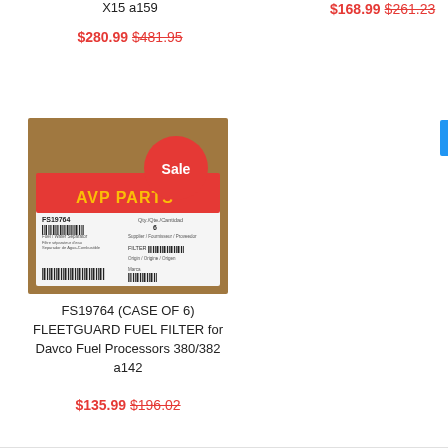X15 a159
$280.99 $481.95
$168.99 $261.23
[Figure (photo): FS19764 Fleetguard fuel filter box with red label, barcode, and AVP Parts watermark. A red 'Sale' badge is overlaid on the top-right of the box.]
FS19764 (CASE OF 6) FLEETGUARD FUEL FILTER for Davco Fuel Processors 380/382 a142
$135.99 $196.02